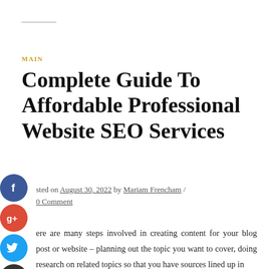MAIN
Complete Guide To Affordable Professional Website SEO Services
Posted on August 30, 2022 by Mariam Frencham / 0 Comment
There are many steps involved in creating content for your blog post or website – planning out the topic you want to cover, doing research on related topics so that you have sources lined up in